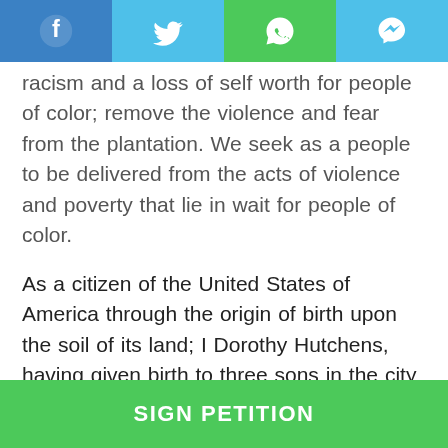[Figure (other): Social sharing bar with Facebook, Twitter, WhatsApp, and Messenger buttons]
racism and a loss of self worth for people of color; remove the violence and fear from the plantation. We seek as a people to be delivered from the acts of violence and poverty that lie in wait for people of color.

As a citizen of the United States of America through the origin of birth upon the soil of its land; I Dorothy Hutchens, having given birth to three sons in the city and state of Memphis, TN. Present my cause of rights to justice having to endure the loss of the lives of two of three sons to the strongholds in Memphis, TN. I petition the courts of the judicial system and legislature to cease to appoint disregard to the lives of colored
[Figure (other): Green SIGN PETITION button at bottom of page]